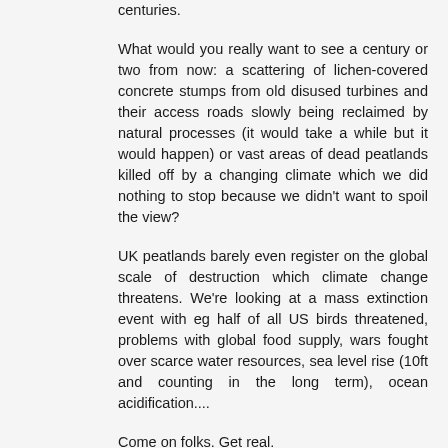centuries.
What would you really want to see a century or two from now: a scattering of lichen-covered concrete stumps from old disused turbines and their access roads slowly being reclaimed by natural processes (it would take a while but it would happen) or vast areas of dead peatlands killed off by a changing climate which we did nothing to stop because we didn't want to spoil the view?
UK peatlands barely even register on the global scale of destruction which climate change threatens. We're looking at a mass extinction event with eg half of all US birds threatened, problems with global food supply, wars fought over scarce water resources, sea level rise (10ft and counting in the long term), ocean acidification....
Come on folks. Get real.